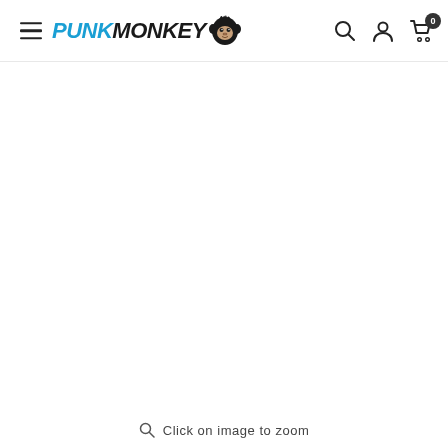PUNKMONKEY (logo with monkey icon, search, account, cart icons)
[Figure (other): Empty white product image area]
Click on image to zoom